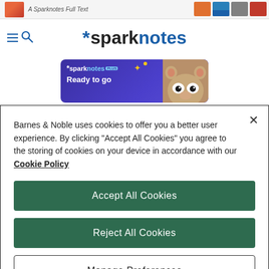A Sparknotes Full Text
[Figure (logo): Sparknotes logo with asterisk star and blue/dark text]
[Figure (illustration): SparkNotes Plus promotional banner with mascot bear and 'Ready to go' text]
Barnes & Noble uses cookies to offer you a better user experience. By clicking "Accept All Cookies" you agree to the storing of cookies on your device in accordance with our Cookie Policy
Accept All Cookies
Reject All Cookies
Manage Preferences